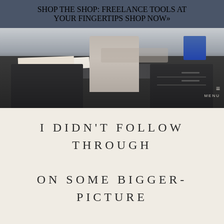SHOP THE SHOP: FREELANCE TOOLS AT YOUR FINGERTIPS SHOP NOW»
[Figure (photo): A dark-colored office desk with drawers, a beige/tan upholstered office chair behind it, some papers and a notebook on the desk surface, a keyboard visible, and a blue item on the right side. A hamburger menu icon with 'MENU' text is overlaid in the lower right of the photo.]
I DIDN'T FOLLOW THROUGH ON SOME BIGGER-PICTURE GOALS.
Sigh. This is an area I always struggle with. Particularly when you're a one-person shop, it's so easy to fall into the routine of